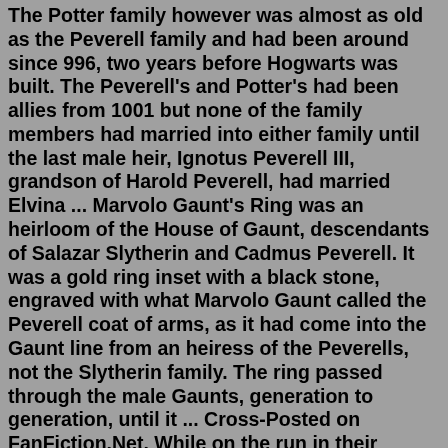The Potter family however was almost as old as the Peverell family and had been around since 996, two years before Hogwarts was built. The Peverell's and Potter's had been allies from 1001 but none of the family members had married into either family until the last male heir, Ignotus Peverell III, grandson of Harold Peverell, had married Elvina ... Marvolo Gaunt's Ring was an heirloom of the House of Gaunt, descendants of Salazar Slytherin and Cadmus Peverell. It was a gold ring inset with a black stone, engraved with what Marvolo Gaunt called the Peverell coat of arms, as it had come into the Gaunt line from an heiress of the Peverells, not the Slytherin family. The ring passed through the male Gaunts, generation to generation, until it ... Cross-Posted on FanFiction.Net. While on the run in their seventh year, a curse sends Harry and Alexis Potter back, separated in the 19th Century. On the search for her lost brother, Alex is found by Ciel Phantomhive and his demonic butler, Sebastian Michaelis.I do not own Harry Potter or any of its characters. All rights go to